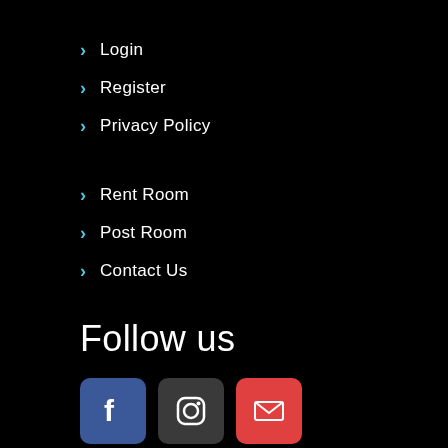Login
Register
Privacy Policy
Rent Room
Post Room
Contact Us
Follow us
[Figure (illustration): Three social media icon buttons: Facebook (blue), Instagram (dark gray), and Email/Mail (red)]